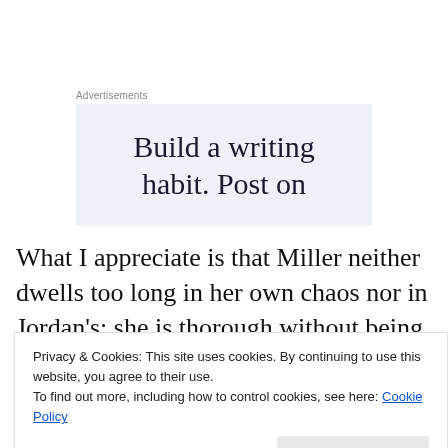Advertisements
[Figure (other): Advertisement banner with text 'Build a writing habit. Post on' on a light blue-grey background]
What I appreciate is that Miller neither dwells too long in her own chaos nor in Jordan's; she is thorough without being heavy handed. I learned not only that fish don't
Privacy & Cookies: This site uses cookies. By continuing to use this website, you agree to their use.
To find out more, including how to control cookies, see here: Cookie Policy
Miller found when she wondered whether deluding oneself